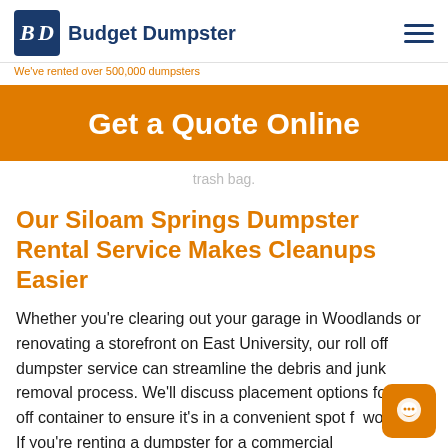[Figure (logo): Budget Dumpster logo with BD icon and company name]
We've rented over 500,000 dumpsters
Get a Quote Online
trash bag.
Our Siloam Springs Dumpster Rental Service Makes Cleanups Easier
Whether you're clearing out your garage in Woodlands or renovating a storefront on East University, our roll off dumpster service can streamline the debris and junk removal process. We'll discuss placement options for roll off container to ensure it's in a convenient spot for workflow. If you're renting a dumpster for a commercial